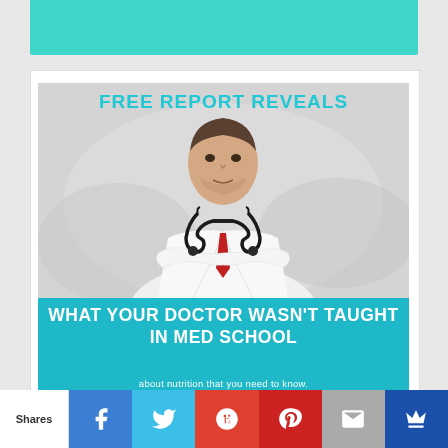[Figure (illustration): Top teal/turquoise banner strip]
[Figure (infographic): Promotional medical infographic card with 'FREE REPORT REVEALS' heading, photo of a male doctor in white coat with stethoscope and arms crossed, on a grey blurred background, with a teal banner below reading 'WHAT YOUR DOCTOR WASN'T TAUGHT IN MED SCHOOL about nutrition that you need to know.']
FREE REPORT REVEALS
WHAT YOUR DOCTOR WASN'T TAUGHT IN MED SCHOOL
about nutrition that you need to know.
Shares | Facebook | Twitter | Google+ | Pinterest | Email | Crown